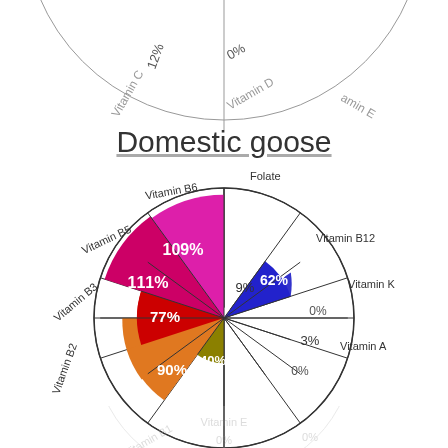[Figure (pie-chart): Domestic goose]
Domestic goose